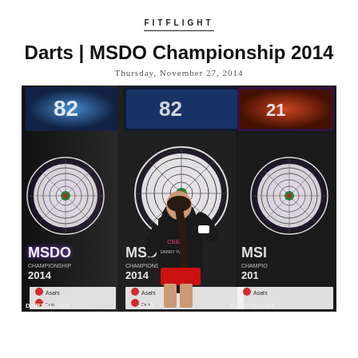FITFLIGHT
Darts | MSDO Championship 2014
Thursday, November 27, 2014
[Figure (photo): A woman in a black t-shirt throwing darts at DARTSLIVE2 electronic dartboard machines branded with MSDO Championship 2014 logos, photographed from behind in a competition venue.]